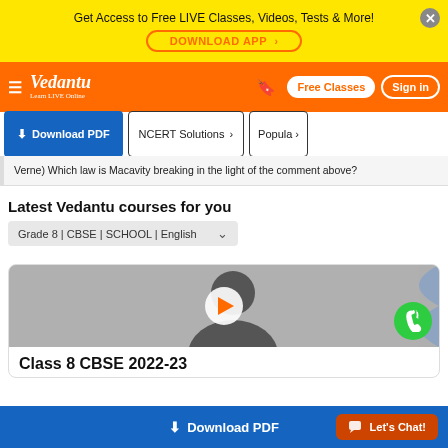Get Access to Free LIVE Classes, Videos, Tests & More! DOWNLOAD APP
[Figure (logo): Vedantu logo with orange navigation bar, Free Classes and Sign in buttons]
↓ Download PDF | NCERT Solutions > | Popula >
Verne) Which law is Macavity breaking in the light of the comment above?
Latest Vedantu courses for you
Grade 8 | CBSE | SCHOOL | English
[Figure (screenshot): Course card showing a person silhouette with a play button overlay]
Class 8 CBSE 2022-23
↓ Download PDF   Let's Chat!